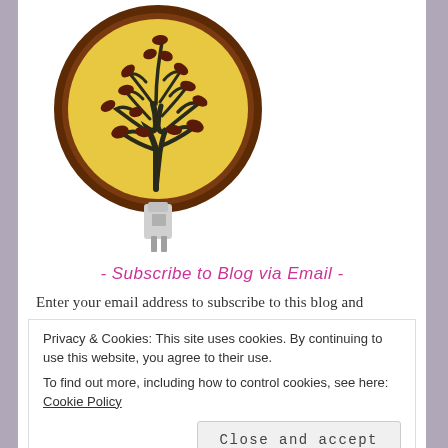[Figure (photo): A decorative night light with a circular glass panel showing a tree of life design with dark branches and leaves on a yellow/amber background with a brown border. The night light plug is visible at the bottom.]
- Subscribe to Blog via Email -
Enter your email address to subscribe to this blog and
Privacy & Cookies: This site uses cookies. By continuing to use this website, you agree to their use.
To find out more, including how to control cookies, see here: Cookie Policy
Close and accept
SUBSCRIBE